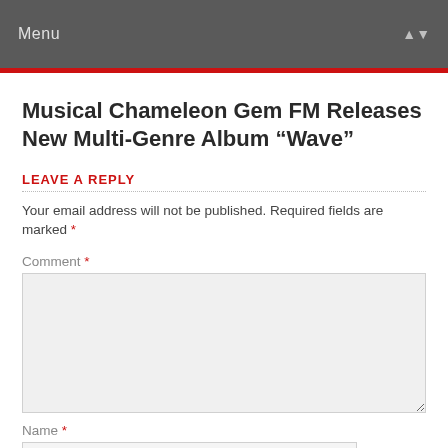Menu
Musical Chameleon Gem FM Releases New Multi-Genre Album “Wave”
LEAVE A REPLY
Your email address will not be published. Required fields are marked *
Comment *
Name *
Email *